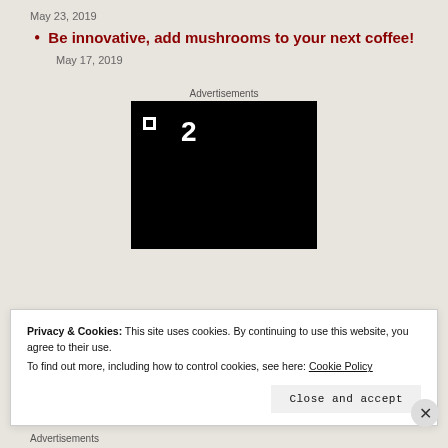May 23, 2019
Be innovative, add mushrooms to your next coffee!
May 17, 2019
Advertisements
[Figure (logo): Black advertisement block with white square and number 2 logo]
Privacy & Cookies: This site uses cookies. By continuing to use this website, you agree to their use.
To find out more, including how to control cookies, see here: Cookie Policy
Close and accept
Advertisements